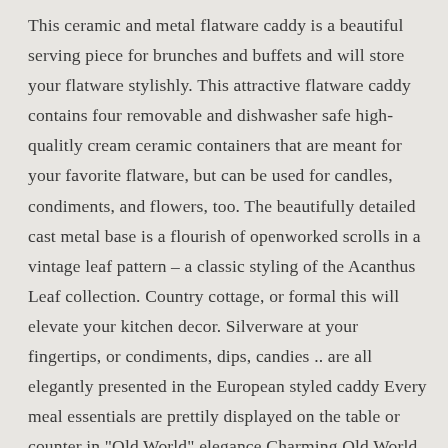This ceramic and metal flatware caddy is a beautiful serving piece for brunches and buffets and will store your flatware stylishly. This attractive flatware caddy contains four removable and dishwasher safe high-qualitly cream ceramic containers that are meant for your favorite flatware, but can be used for candles, condiments, and flowers, too. The beautifully detailed cast metal base is a flourish of openworked scrolls in a vintage leaf pattern – a classic styling of the Acanthus Leaf collection. Country cottage, or formal this will elevate your kitchen decor. Silverware at your fingertips, or condiments, dips, candies .. are all elegantly presented in the European styled caddy Every meal essentials are prettily displayed on the table or counter in "Old World" elegance Charming Old World European styling is seen in the cast metal Acanthus Leaf pattern of the base Hand wash the intricate cast metal base with mild soap and dry with a soft cloth The